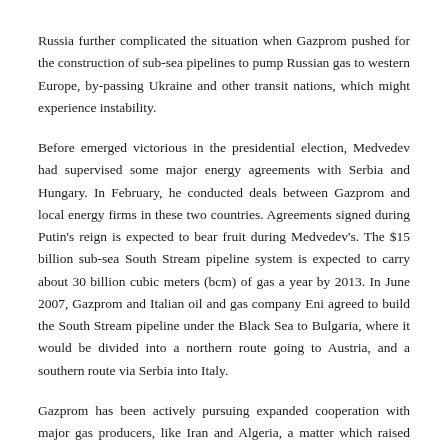Russia further complicated the situation when Gazprom pushed for the construction of sub-sea pipelines to pump Russian gas to western Europe, by-passing Ukraine and other transit nations, which might experience instability.
Before emerged victorious in the presidential election, Medvedev had supervised some major energy agreements with Serbia and Hungary. In February, he conducted deals between Gazprom and local energy firms in these two countries. Agreements signed during Putin's reign is expected to bear fruit during Medvedev's. The $15 billion sub-sea South Stream pipeline system is expected to carry about 30 billion cubic meters (bcm) of gas a year by 2013. In June 2007, Gazprom and Italian oil and gas company Eni agreed to build the South Stream pipeline under the Black Sea to Bulgaria, where it would be divided into a northern route going to Austria, and a southern route via Serbia into Italy.
Gazprom has been actively pursuing expanded cooperation with major gas producers, like Iran and Algeria, a matter which raised speculations about the creation of a gas cartel to control prices. And although Russian officials have repeatedly denied any gas cartel plans, Iranian officials